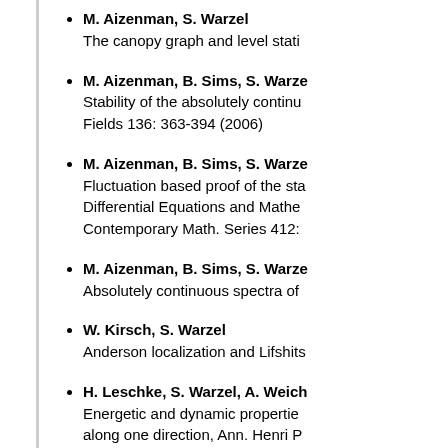M. Aizenman, S. Warzel
The canopy graph and level stati…
M. Aizenman, B. Sims, S. Warze…
Stability of the absolutely continu…
Fields 136: 363-394 (2006)
M. Aizenman, B. Sims, S. Warze…
Fluctuation based proof of the sta…
Differential Equations and Mathe…
Contemporary Math. Series 412:…
M. Aizenman, B. Sims, S. Warze…
Absolutely continuous spectra of…
W. Kirsch, S. Warzel
Anderson localization and Lifshits…
H. Leschke, S. Warzel, A. Weich…
Energetic and dynamic propertie…
along one direction, Ann. Henri P…
M. Aizenman, S. Warzel
Persistence under weak disorder…
5: 499-506 (2005)